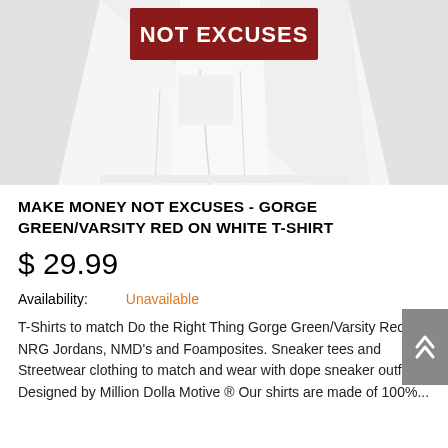[Figure (photo): Partial view of a white t-shirt showing the bottom portion with text 'NOT EXCUSES' on a dark red/maroon rectangular banner at the top of the visible area]
MAKE MONEY NOT EXCUSES - GORGE GREEN/VARSITY RED ON WHITE T-SHIRT
$ 29.99
Availability:  Unavailable
T-Shirts to match Do the Right Thing Gorge Green/Varsity Red NRG Jordans, NMD's and Foamposites. Sneaker tees and Streetwear clothing to match and wear with dope sneaker outfits. Designed by Million Dolla Motive ® Our shirts are made of 100%...